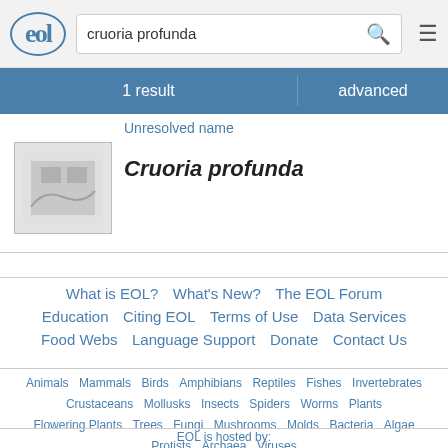EOL — cruoria profunda search
1 result
advanced
Unresolved name
Cruoria profunda
What is EOL? What's New? The EOL Forum Education Citing EOL Terms of Use Data Services Food Webs Language Support Donate Contact Us
Animals Mammals Birds Amphibians Reptiles Fishes Invertebrates Crustaceans Mollusks Insects Spiders Worms Plants Flowering Plants Trees Fungi Mushrooms Molds Bacteria Algae Protists Archaea Viruses
EOL is hosted by:
NATIONAL